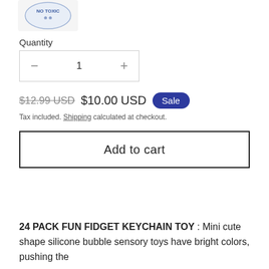[Figure (logo): Partial circular stamp/badge image showing 'NO TOXIC' text, white background]
Quantity
[Figure (other): Quantity selector box with minus button, number 1, and plus button]
$12.99 USD  $10.00 USD  Sale
Tax included. Shipping calculated at checkout.
Add to cart
24 PACK FUN FIDGET KEYCHAIN TOY : Mini cute shape silicone bubble sensory toys have bright colors, pushing the